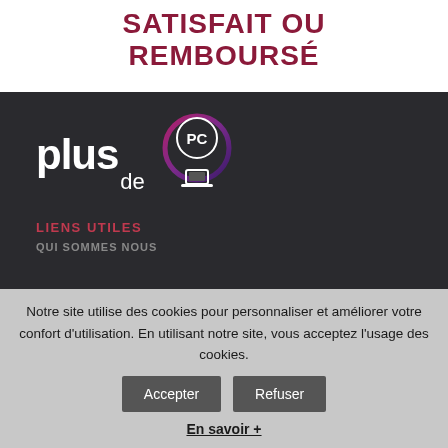SATISFAIT OU REMBOURSÉ
[Figure (logo): Plus de PC logo — white text 'plus de' with a circular PC emblem in pink/purple gradient with a laptop icon]
LIENS UTILES
QUI SOMMES NOUS
Notre site utilise des cookies pour personnaliser et améliorer votre confort d'utilisation. En utilisant notre site, vous acceptez l'usage des cookies.
Accepter
Refuser
En savoir +